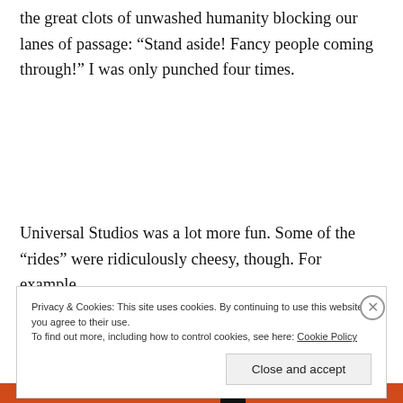the great clots of unwashed humanity blocking our lanes of passage: “Stand aside! Fancy people coming through!” I was only punched four times.
Universal Studios was a lot more fun. Some of the “rides” were ridiculously cheesy, though. For example,
Privacy & Cookies: This site uses cookies. By continuing to use this website, you agree to their use.
To find out more, including how to control cookies, see here: Cookie Policy
Close and accept